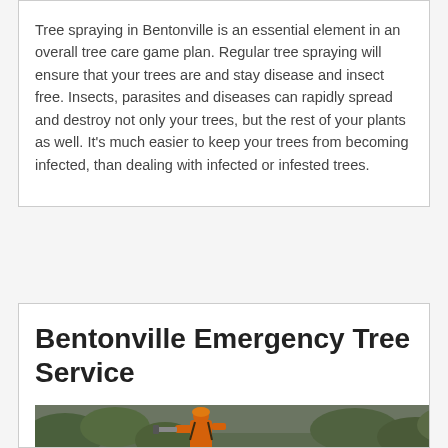Tree spraying in Bentonville is an essential element in an overall tree care game plan. Regular tree spraying will ensure that your trees are and stay disease and insect free. Insects, parasites and diseases can rapidly spread and destroy not only your trees, but the rest of your plants as well. It's much easier to keep your trees from becoming infected, than dealing with infected or infested trees.
Bentonville Emergency Tree Service
[Figure (photo): A worker in orange safety gear using a chainsaw or cutting tool on tree branches and debris outdoors.]